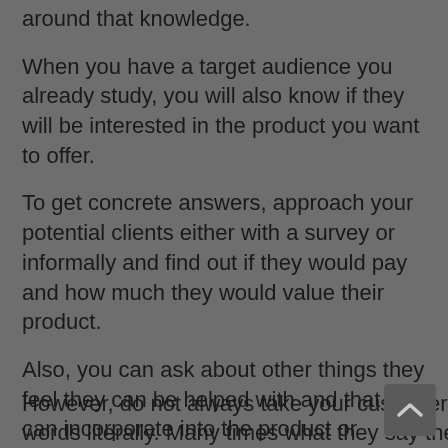around that knowledge.
When you have a target audience you already study, you will also know if they will be interested in the product you want to offer.
To get concrete answers, approach your potential clients either with a survey or informally and find out if they would pay and how much they would value their product.
Also, you can ask about other things they feel they can be helped with and that you can incorporate into the product or service you offer.
However, do not always take your customers' words literally. Many times what they say they